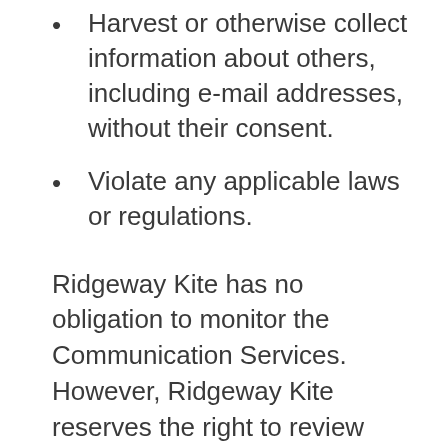Harvest or otherwise collect information about others, including e-mail addresses, without their consent.
Violate any applicable laws or regulations.
Ridgeway Kite has no obligation to monitor the Communication Services. However, Ridgeway Kite reserves the right to review materials posted to a Communication Service and to remove any materials in its sole discretion. Ridgeway Kite reserves the right to terminate your access to any or all of the Communication Services at any time without notice for any reason whatsoever.